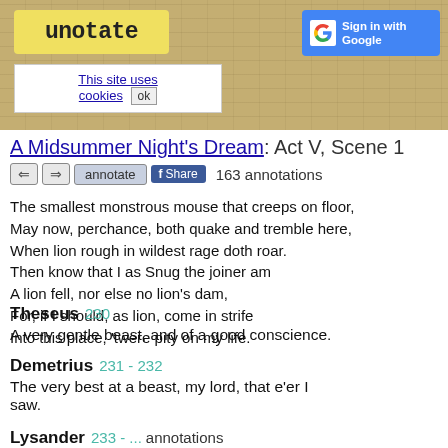[Figure (logo): Unotate logo in yellow box, handwritten-style text]
[Figure (screenshot): Sign in with Google button (blue with Google G icon)]
This site uses cookies ok
A Midsummer Night's Dream: Act V, Scene 1
← ⇒ annotate f Share  163 annotations
The smallest monstrous mouse that creeps on floor,
May now, perchance, both quake and tremble here,
When lion rough in wildest rage doth roar.
Then know that I as Snug the joiner am
A lion fell, nor else no lion's dam,
For, if I should, as lion, come in strife
Into this place, 'twere pity on my life.
Theseus  230
A very gentle beast, and of a good conscience.
Demetrius  231 - 232
The very best at a beast, my lord, that e'er I saw.
Lysander  233 - ...  annotations